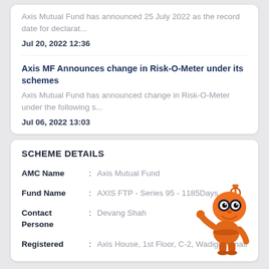Axis Mutual Fund has announced 25 July 2022 as the record date for declarat...
Jul 20, 2022 12:36
Axis MF Announces change in Risk-O-Meter under its schemes
Axis Mutual Fund has announced change in Risk-O-Meter under the following s...
Jul 06, 2022 13:03
SCHEME DETAILS
| Field |  | Value |
| --- | --- | --- |
| AMC Name | : | Axis Mutual Fund |
| Fund Name | : | AXIS FTP - Series 95 - 1185Days |
| Contact Persone | : | Devang Shah |
| Registered | : | Axis House, 1st Floor, C-2, Wadiginternati |
[Figure (illustration): Orange robot mascot character with antenna, large eyes, and a smiling face, pointing with one hand]